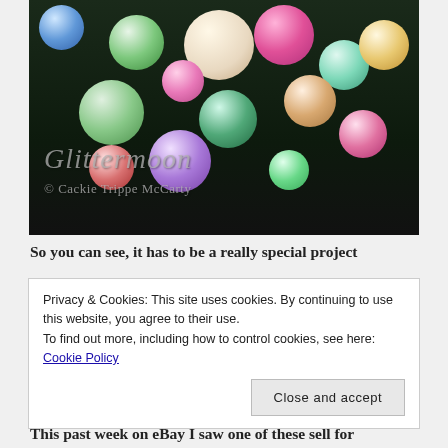[Figure (photo): A decorative Christmas ornament wreath made of colorful vintage ornament balls in green, pink, gold, blue, and white, with gold tinsel accents, displayed on a dark background. A watermark reads 'Glittermoon' and '© Cackie Trippe McCarty'.]
So you can see, it has to be a really special project
Privacy & Cookies: This site uses cookies. By continuing to use this website, you agree to their use.
To find out more, including how to control cookies, see here: Cookie Policy
Close and accept
This past week on eBay I saw one of those sell for